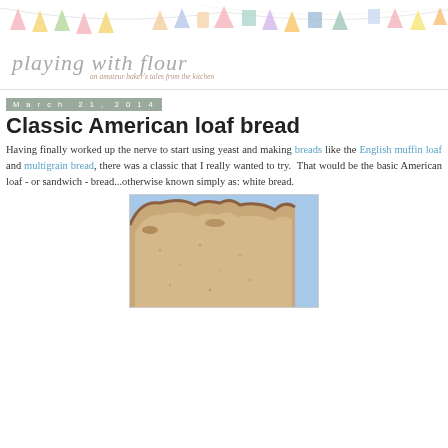[Figure (illustration): Colorful bunting/flag banner decoration across the top of the blog header]
playing with flour
an amateur baker's tales from the kitchen
March 21, 2014
Classic American loaf bread
Having finally worked up the nerve to start using yeast and making breads like the English muffin loaf and multigrain bread, there was a classic that I really wanted to try. That would be the basic American loaf - or sandwich - bread...otherwise known simply as: white bread.
[Figure (photo): Close-up photo of a slice of bread showing bread texture/crumb in foreground with blue sky in background]